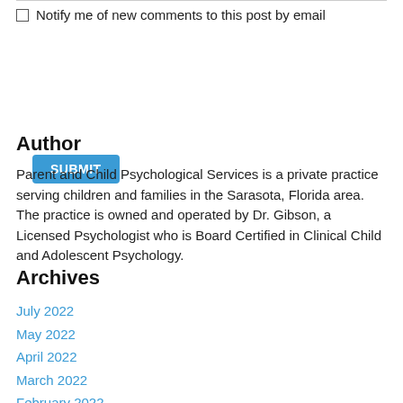Notify me of new comments to this post by email
SUBMIT
Author
Parent and Child Psychological Services is a private practice serving children and families in the Sarasota, Florida area. The practice is owned and operated by Dr. Gibson, a Licensed Psychologist who is Board Certified in Clinical Child and Adolescent Psychology.
Archives
July 2022
May 2022
April 2022
March 2022
February 2022
January 2022